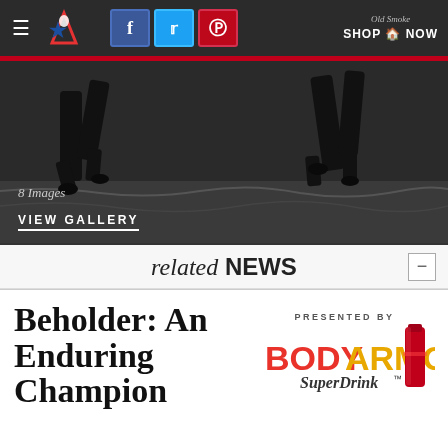≡ [Logo] [Facebook] [Twitter] [Pinterest] Old Smoke SHOP NOW
[Figure (photo): Black and white close-up photograph of horse hooves running on a track]
8 Images
VIEW GALLERY
related NEWS
Beholder: An Enduring Champion
PRESENTED BY
[Figure (logo): BODYARMOR SuperDrink logo with bottle]